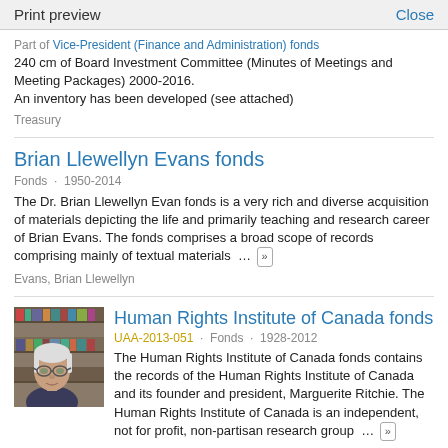Print preview   Close
Part of Vice-President (Finance and Administration) fonds
240 cm of Board Investment Committee (Minutes of Meetings and Meeting Packages) 2000-2016.
An inventory has been developed (see attached)
Treasury
Brian Llewellyn Evans fonds
Fonds · 1950-2014
The Dr. Brian Llewellyn Evan fonds is a very rich and diverse acquisition of materials depicting the life and primarily teaching and research career of Brian Evans. The fonds comprises a broad scope of records comprising mainly of textual materials … »
Evans, Brian Llewellyn
[Figure (photo): Thumbnail photo of a person (woman with glasses) in front of bookshelves]
Human Rights Institute of Canada fonds
UAA-2013-051 · Fonds · 1928-2012
The Human Rights Institute of Canada fonds contains the records of the Human Rights Institute of Canada and its founder and president, Marguerite Ritchie. The Human Rights Institute of Canada is an independent, not for profit, non-partisan research group … »